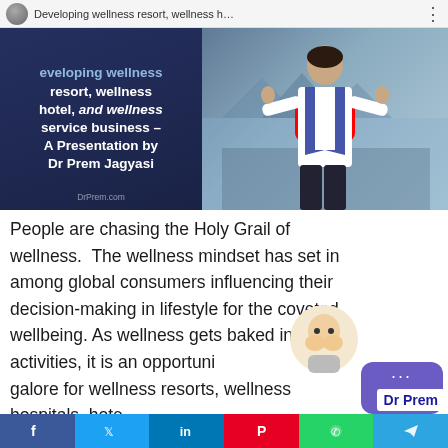[Figure (screenshot): YouTube video thumbnail showing 'Developing wellness resort, wellness hotel, and wellness service business – A Presentation by Dr Prem Jagyasi' with a presenter in blue vest standing with arms outstretched, and YouTube play button overlay. DrPrem.com watermark visible.]
People are chasing the Holy Grail of wellness. The wellness mindset has set in among global consumers influencing their decision-making in lifestyle for the coveted wellbeing. As wellness gets baked into all activities, it is an opportunity galore for wellness resorts, wellness hospitals, hotels, and wellness service businesses.
Social share buttons: Facebook, Twitter, LinkedIn, Pinterest, WhatsApp, Telegram